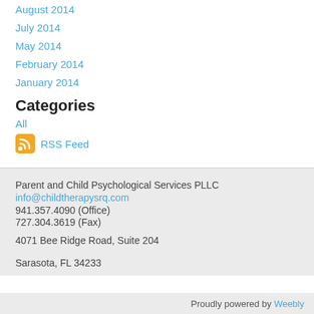August 2014
July 2014
May 2014
February 2014
January 2014
Categories
All
RSS Feed
Parent and Child Psychological Services PLLC
info@childtherapysrq.com
941.357.4090 (Office)
727.304.3619 (Fax)

4071 Bee Ridge Road, Suite 204

Sarasota, FL 34233
Proudly powered by Weebly